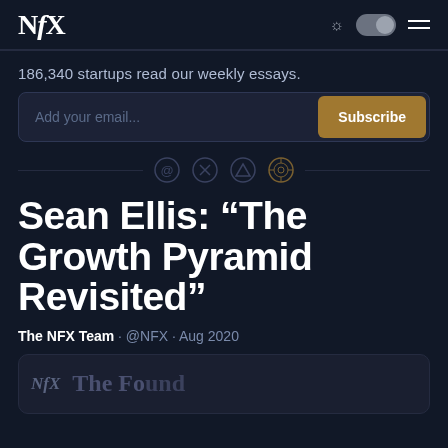NFX
186,340 startups read our weekly essays.
Add your email... Subscribe
Sean Ellis: “The Growth Pyramid Revisited”
The NFX Team · @NFX · Aug 2020
[Figure (screenshot): Article preview card showing NFX logo and partial title text]